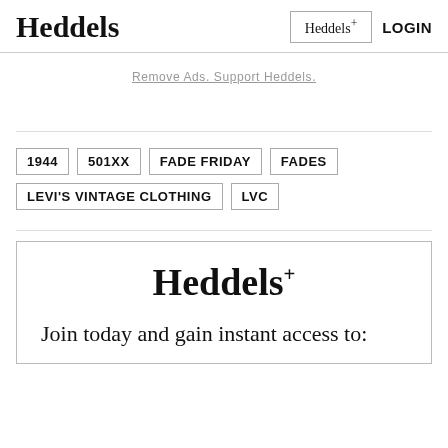Heddels
Remove Ads. Support Heddels.
1944
501XX
FADE FRIDAY
FADES
LEVI'S VINTAGE CLOTHING
LVC
Heddels+
Join today and gain instant access to: